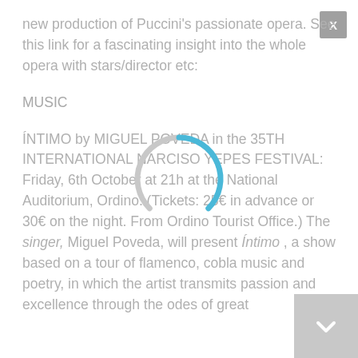new production of Puccini's passionate opera. See this link for a fascinating insight into the whole opera with stars/director etc:
MUSIC
ÍNTIMO by MIGUEL POVEDA in the 35TH INTERNATIONAL NARCISO YEPES FESTIVAL: Friday, 6th October at 21h at the National Auditorium, Ordino. (Tickets: 25€ in advance or 30€ on the night. From Ordino Tourist Office.) The singer, Miguel Poveda, will present Íntimo , a show based on a tour of flamenco, cobla music and poetry, in which the artist transmits passion and excellence through the odes of great
[Figure (other): Loading spinner — circular arc in blue and grey indicating a loading state]